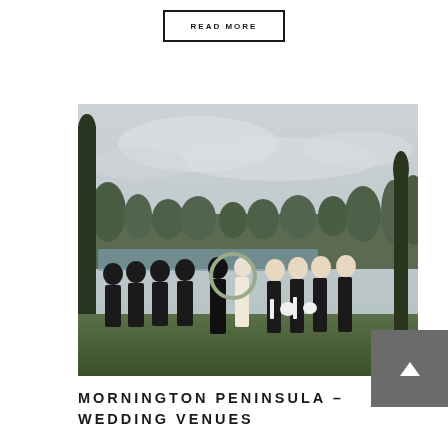READ MORE
[Figure (photo): Wedding party group photo outdoors at a waterfront venue. Groomsmen in black tuxedos on the left, bride and groom in the center exchanging vows under a floral arch, bridesmaids in black dresses on the right. Background shows trees, a lake, and an overcast sky.]
MORNINGTON PENINSULA – WEDDING VENUES